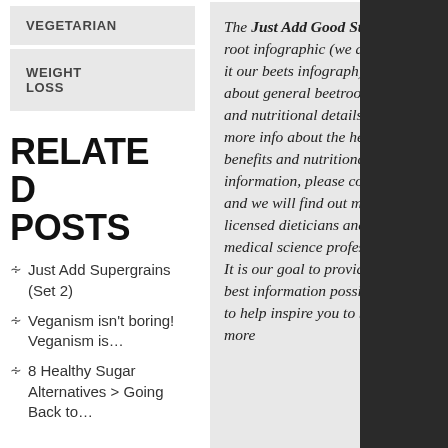VEGETARIAN
WEIGHT LOSS
RELATED POSTS
Just Add Supergrains (Set 2)
Veganism isn't boring! Veganism is…
8 Healthy Sugar Alternatives > Going Back to…
The Just Add Good Stuff beet root infographic (we also call it our beets infograph) talks about general beetroot facts and nutritional details. For more info about the health benefits and nutritional information, please contact us and we will find out more from licensed dieticians and medical science professionals. It is our goal to provide the best information possible and to help inspire you to become more